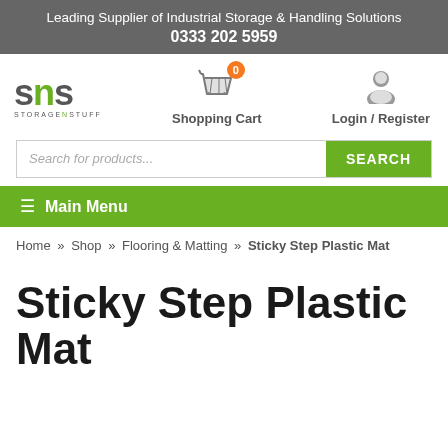Leading Supplier of Industrial Storage & Handling Solutions
0333 202 5959
[Figure (logo): SNS Storage N Stuff logo with green N letter]
Shopping Cart
Login / Register
Search for products...
≡ Main Menu
Home » Shop » Flooring & Matting » Sticky Step Plastic Mat
Sticky Step Plastic Mat